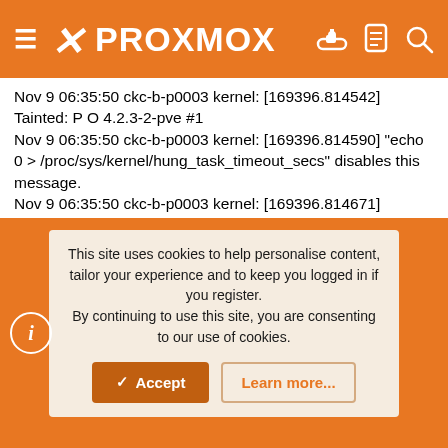Proxmox - header with logo and navigation icons
Nov 9 06:35:50 ckc-b-p0003 kernel: [169396.814542] Tainted: P O 4.2.3-2-pve #1
Nov 9 06:35:50 ckc-b-p0003 kernel: [169396.814590] "echo 0 > /proc/sys/kernel/hung_task_timeout_secs" disables this message.
Nov 9 06:35:50 ckc-b-p0003 kernel: [169396.814671] pveproxy D 000000000000000e 0 10150 1 0x00000004
Nov 9 06:35:50 ckc-b-p0003 kernel: [169396.814679] ffff881041c30600 ffff880507174000 ffff881041c306ac ffff881042378dc0
Nov 9 06:35:50 ckc-b-p0003 kernel: [169396.814692] [<ffffffff818036a7>] schedule+0x37/0x80
Nov 9 06:35:50 ckc-b-p0003 kernel: [169396.814700] [<ffffffff818056f3>] mutex_lock+0x23/0x40
This site uses cookies to help personalise content, tailor your experience and to keep you logged in if you register.
By continuing to use this site, you are consenting to our use of cookies.